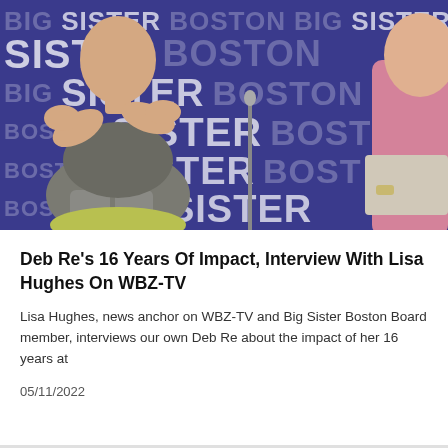[Figure (photo): Two women seated in front of a Big Sister Boston branded backdrop (purple/dark blue background with repeating Big Sister Boston text). The woman on the left is gesturing with her hands and wearing a grey top. The woman on the right is in a pink top holding a notebook or papers.]
Deb Re's 16 Years Of Impact, Interview With Lisa Hughes On WBZ-TV
Lisa Hughes, news anchor on WBZ-TV and Big Sister Boston Board member, interviews our own Deb Re about the impact of her 16 years at
05/11/2022